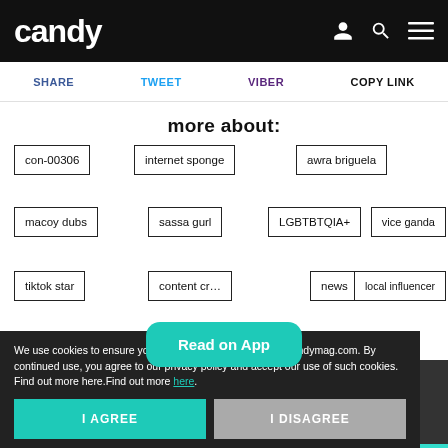candy
SHARE   TWEET   VIBER   COPY LINK
more about:
con-00306
internet sponge
awra briguela
macoy dubs
sassa gurl
LGBTBTQIA+
vice ganda
tiktok star
content creator
news
local influencer
Read on App
We use cookies to ensure you get the best experience on Candymag.com. By continued use, you agree to our privacy policy and accept our use of such cookies. Find out more here.Find out more here.
I AGREE
I DISAGREE